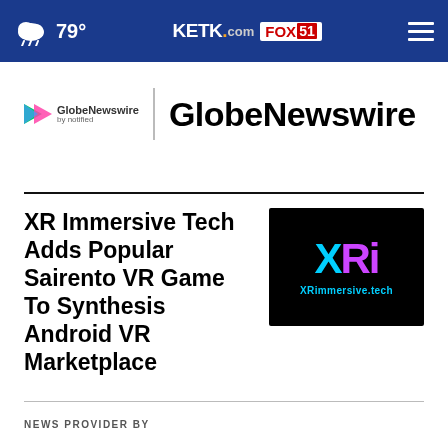79° KETK.com FOX51
[Figure (logo): GlobeNewswire by notified logo with play button icon, vertical divider, and large GlobeNewswire text]
XR Immersive Tech Adds Popular Sairento VR Game To Synthesis Android VR Marketplace
[Figure (logo): XRi logo on black background with XRimmersive.tech text below]
NEWS PROVIDER BY